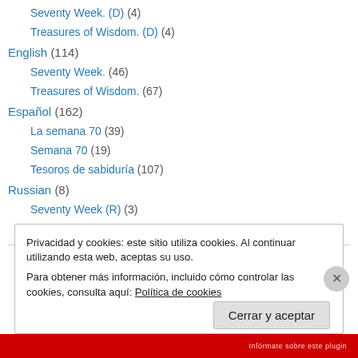Seventy Week. (D) (4)
Treasures of Wisdom. (D) (4)
English (114)
Seventy Week. (46)
Treasures of Wisdom. (67)
Español (162)
La semana 70 (39)
Semana 70 (19)
Tesoros de sabiduría (107)
Russian (8)
Seventy Week (R) (3)
Treasures of Wisdom. (R) (5)
Privacidad y cookies: este sitio utiliza cookies. Al continuar utilizando esta web, aceptas su uso. Para obtener más información, incluido cómo controlar las cookies, consulta aquí: Política de cookies
Cerrar y aceptar